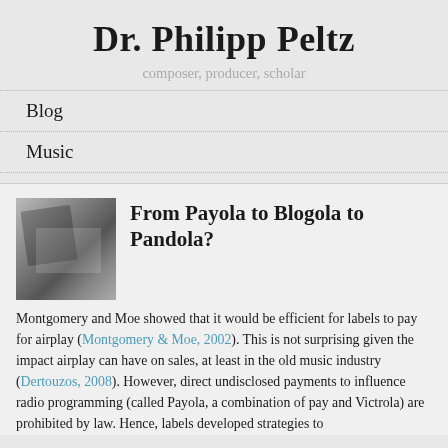Dr. Philipp Peltz
composer, producer, scholar
Blog
Music
From Payola to Blogola to Pandola?
Montgomery and Moe showed that it would be efficient for labels to pay for airplay (Montgomery & Moe, 2002). This is not surprising given the impact airplay can have on sales, at least in the old music industry (Dertouzos, 2008). However, direct undisclosed payments to influence radio programming (called Payola, a combination of pay and Victrola) are prohibited by law. Hence, labels developed strategies to